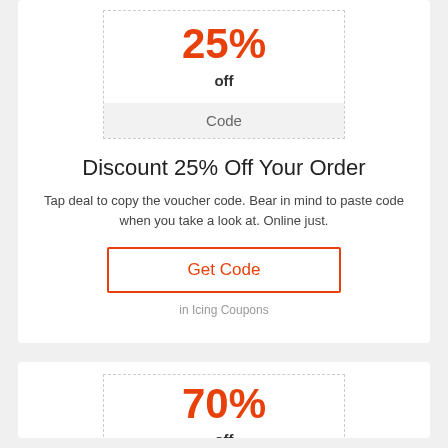25%
off
Code
Discount 25% Off Your Order
Tap deal to copy the voucher code. Bear in mind to paste code when you take a look at. Online just.
Get Code
in Icing Coupons
70%
off